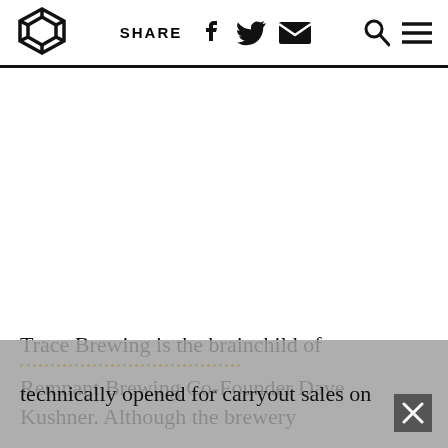SHARE [social icons] [search] [menu]
Trace Brewing is the brainchild of Remnant Brewing Co-Founder Dave Kushner. Although the brewery technically opened for carryout sales on